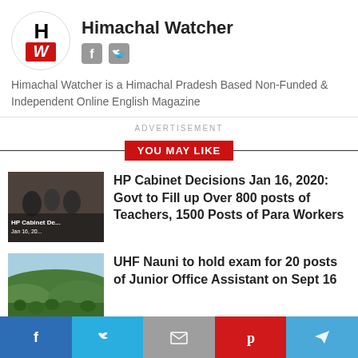[Figure (logo): Himachal Watcher logo — circular with H above and red W below]
Himachal Watcher
[Figure (illustration): Facebook and Twitter social media icons]
Himachal Watcher is a Himachal Pradesh Based Non-Funded & Independent Online English Magazine
ADVERTISEMENT
YOU MAY LIKE
[Figure (photo): HP Cabinet meeting photo with text overlay HP Cabinet De... Jan 16, 20...]
HP Cabinet Decisions Jan 16, 2020: Govt to Fill up Over 800 posts of Teachers, 1500 Posts of Para Workers
[Figure (photo): Aerial landscape photo of green hills and valleys]
UHF Nauni to hold exam for 20 posts of Junior Office Assistant on Sept 16
[Figure (infographic): Social share bar with Facebook, Twitter, Email, Pinterest, Telegram icons]